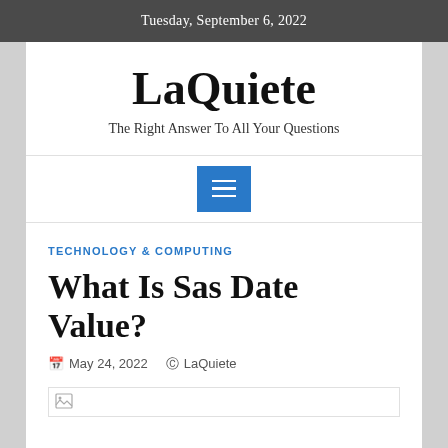Tuesday, September 6, 2022
LaQuiete
The Right Answer To All Your Questions
[Figure (other): Blue hamburger menu button with three white horizontal lines]
TECHNOLOGY & COMPUTING
What Is Sas Date Value?
May 24, 2022  LaQuiete
[Figure (photo): Broken image placeholder at bottom of article]